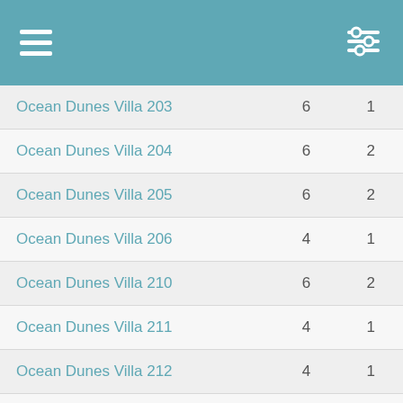Navigation header with menu and filter icons
| Property | Col2 | Col3 |
| --- | --- | --- |
| Ocean Dunes Villa 203 | 6 | 1 |
| Ocean Dunes Villa 204 | 6 | 2 |
| Ocean Dunes Villa 205 | 6 | 2 |
| Ocean Dunes Villa 206 | 4 | 1 |
| Ocean Dunes Villa 210 | 6 | 2 |
| Ocean Dunes Villa 211 | 4 | 1 |
| Ocean Dunes Villa 212 | 4 | 1 |
| Ocean Dunes Villa 214 | 6 | 1 |
| Ocean Dunes Villa 216 | 6 | 2 |
| Ocean Dunes Villa 217 | 6 | 2 |